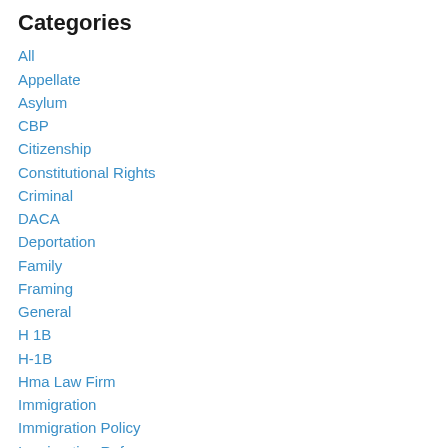Categories
All
Appellate
Asylum
CBP
Citizenship
Constitutional Rights
Criminal
DACA
Deportation
Family
Framing
General
H 1B
H-1B
Hma Law Firm
Immigration
Immigration Policy
Immigration Reform
International